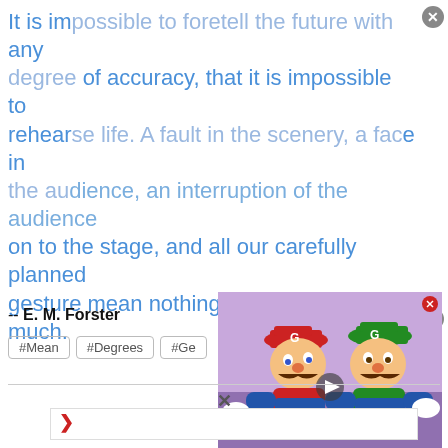It is impossible to foretell the future with any degree of accuracy, that it is impossible to rehearse life. A fault in the scenery, a face in the audience, an interruption of the audience on to the stage, and all our carefully planned gesture mean nothing, or mean too much.
-- E. M. Forster
#Mean #Degrees #Ge...
[Figure (illustration): Cartoon illustration of Mario and Luigi characters facing each other closely, Mario in red cap and Luigi in green cap, colorful animated style with purple background.]